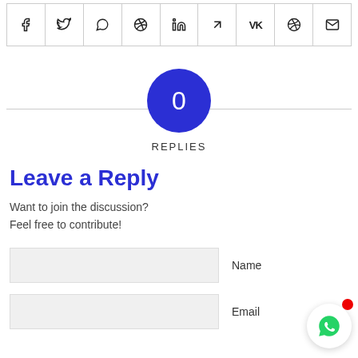[Figure (other): Social media share bar with icons: Facebook, Twitter, WhatsApp, Pinterest, LinkedIn, Tumblr, VK, Reddit, Email]
[Figure (infographic): Blue circle with number 0 and label REPLIES below, on a horizontal divider line]
Leave a Reply
Want to join the discussion?
Feel free to contribute!
Name (form field)
Email (form field)
[Figure (other): WhatsApp floating button with red notification dot]